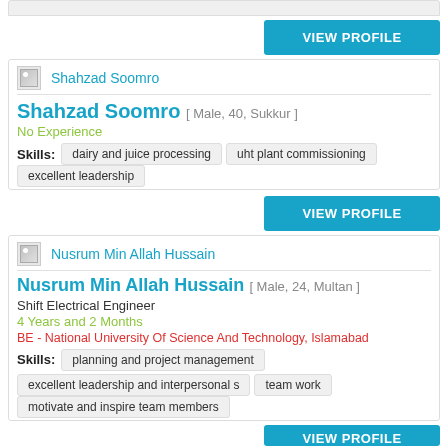[Figure (other): Partial card top from previous listing]
VIEW PROFILE
Shahzad Soomro
Shahzad Soomro [ Male, 40, Sukkur ]
No Experience
Skills: dairy and juice processing | uht plant commissioning | excellent leadership
VIEW PROFILE
Nusrum Min Allah Hussain
Nusrum Min Allah Hussain [ Male, 24, Multan ]
Shift Electrical Engineer
4 Years and 2 Months
BE - National University Of Science And Technology, Islamabad
Skills: planning and project management | excellent leadership and interpersonal s | team work | motivate and inspire team members
VIEW PROFILE